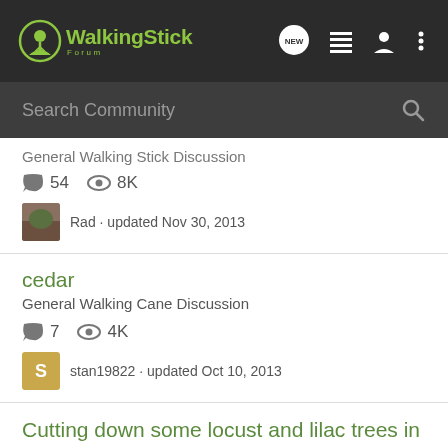WalkingStick Forum
Search Community
General Walking Stick Discussion · 54 comments · 8K views · Rad · updated Nov 30, 2013
cedar
General Walking Cane Discussion
7 comments · 4K views · stan19822 · updated Oct 10, 2013
Cutting down some locust and lilac trees in Northern Indiana
All About Wood